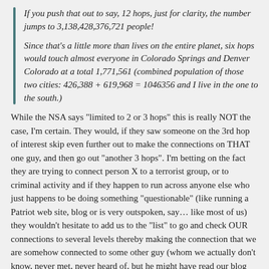If you push that out to say, 12 hops, just for clarity, the number jumps to 3,138,428,376,721 people!
Since that's a little more than lives on the entire planet, six hops would touch almost everyone in Colorado Springs and Denver Colorado at a total 1,771,561 (combined population of those two cities: 426,388 + 619,968 = 1046356 and I live in the one to the south.)
While the NSA says "limited to 2 or 3 hops" this is really NOT the case, I'm certain. They would, if they saw someone on the 3rd hop of interest skip even further out to make the connections on THAT one guy, and then go out "another 3 hops". I'm betting on the fact they are trying to connect person X to a terrorist group, or to criminal activity and if they happen to run across anyone else who just happens to be doing something "questionable" (like running a Patriot web site, blog or is very outspoken, say… like most of us) they wouldn't hesitate to add us to the "list" to go and check OUR connections to several levels thereby making the connection that we are somehow connected to some other guy (whom we actually don't know, never met, never heard of, but he might have read our blog and we his….)